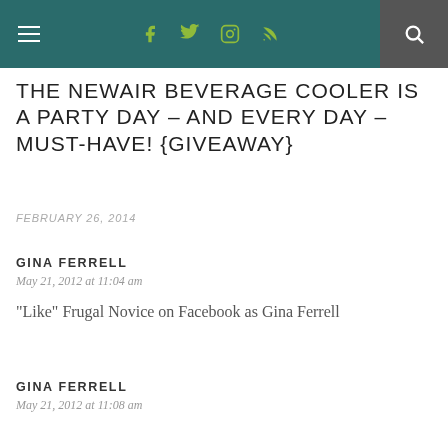≡  [social icons]  🔍
THE NEWAIR BEVERAGE COOLER IS A PARTY DAY – AND EVERY DAY – MUST-HAVE! {GIVEAWAY}
FEBRUARY 26, 2014
GINA FERRELL
May 21, 2012 at 11:04 am
“Like” Frugal Novice on Facebook as Gina Ferrell
GINA FERRELL
May 21, 2012 at 11:08 am